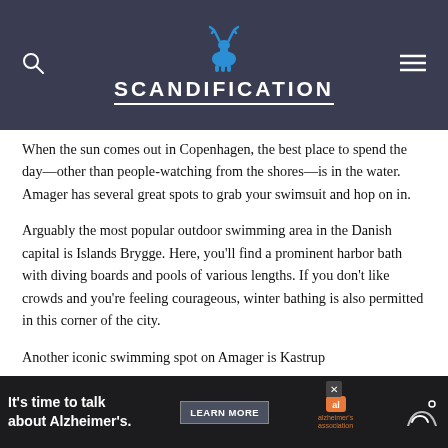SCANDIFICATION
When the sun comes out in Copenhagen, the best place to spend the day—other than people-watching from the shores—is in the water. Amager has several great spots to grab your swimsuit and hop on in.
Arguably the most popular outdoor swimming area in the Danish capital is Islands Brygge. Here, you'll find a prominent harbor bath with diving boards and pools of various lengths. If you don't like crowds and you're feeling courageous, winter bathing is also permitted in this corner of the city.
Another iconic swimming spot on Amager is Kastrup
[Figure (other): Advertisement banner: It's time to talk about Alzheimer's. LEARN MORE. alzheimers association logo.]